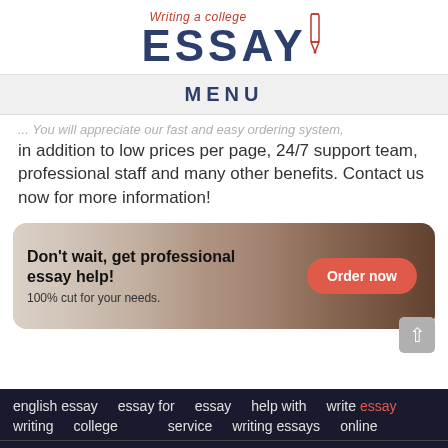[Figure (logo): Writing a college ESSAY logo with pen icon, text in red and dark navy blue]
MENU
... You will appreciate our fast and easy ordering system, in addition to low prices per page, 24/7 support team, professional staff and many other benefits. Contact us now for more information!
[Figure (infographic): Ad banner with dark reddish-brown background showing students, text: Don't wait, get professional essay help! 100% cut for your needs. With Order now button.]
english essay writing   essay for college   essay service   help with writing essays   write essay online